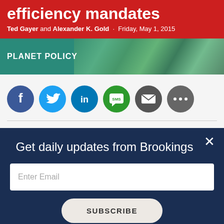efficiency mandates
Ted Gayer and Alexander K. Gold · Friday, May 1, 2015
[Figure (illustration): Planet Policy banner with aerial landscape image in teal/green tones]
[Figure (infographic): Social sharing icons row: Facebook (blue circle), Twitter (light blue circle), LinkedIn (dark blue circle), SMS (green circle), Email (dark gray circle), More/ellipsis (gray circle)]
Get daily updates from Brookings
Enter Email
SUBSCRIBE